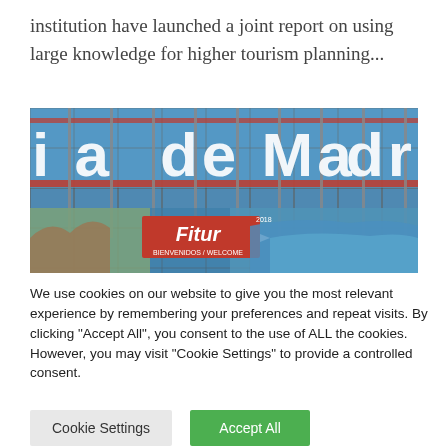institution have launched a joint report on using large knowledge for higher tourism planning...
[Figure (photo): Exterior glass building facade with large letters 'i a de Madr' (part of Feria de Madrid) and a red Fitur logo banner at the bottom with tourism imagery]
We use cookies on our website to give you the most relevant experience by remembering your preferences and repeat visits. By clicking "Accept All", you consent to the use of ALL the cookies. However, you may visit "Cookie Settings" to provide a controlled consent.
Cookie Settings
Accept All